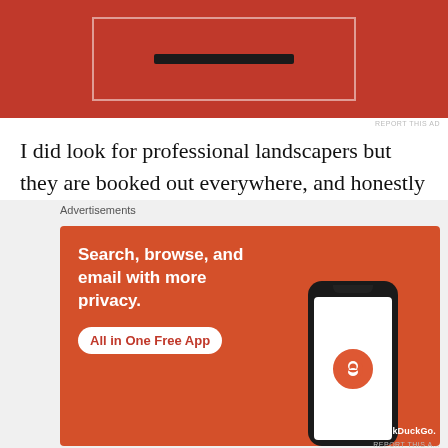[Figure (other): Red advertisement banner at top of page with dark rectangular element]
I did look for professional landscapers but they are booked out everywhere, and honestly my job is not large enough for most tradies to be interested in. Plus, my husband and I thought we could tackle it ourselves.
I watched several YouTube videos about building a trellis to espalier trees, and visited the Botanic Gardens to look at the way their very professional gardeners had
[Figure (other): DuckDuckGo advertisement banner: 'Search, browse, and email with more privacy. All in One Free App' with phone mockup showing DuckDuckGo logo]